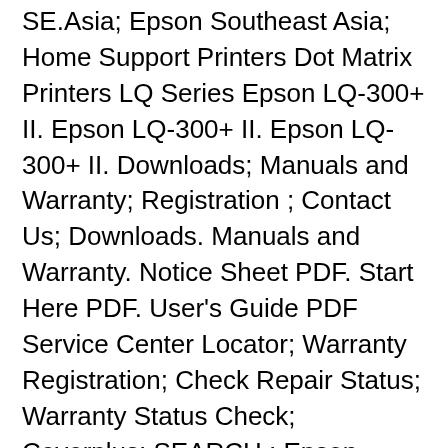SE.Asia; Epson Southeast Asia; Home Support Printers Dot Matrix Printers LQ Series Epson LQ-300+ II. Epson LQ-300+ II. Epson LQ-300+ II. Downloads; Manuals and Warranty; Registration ; Contact Us; Downloads. Manuals and Warranty. Notice Sheet PDF. Start Here PDF. User's Guide PDF Service Center Locator; Warranty Registration; Check Repair Status; Warranty Status Check; Coverplus; SEARCH ; Epson Southeast Asia; Home Support Printers Dot Matrix Printers LQ Series Epson LQ-300+ II. Epson LQ-300+ II. Epson LQ-300+ II. Downloads; Manuals and Warranty; Registration; Contact Us; Downloads. Manuals and Warranty. Notice Sheet PDF. Start Here PDF. User's Guide PDF. Registration...